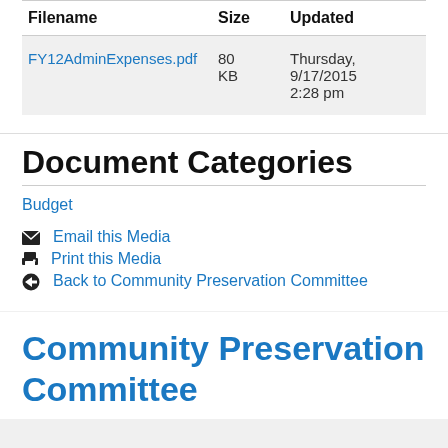| Filename | Size | Updated |
| --- | --- | --- |
| FY12AdminExpenses.pdf | 80 KB | Thursday, 9/17/2015 2:28 pm |
Document Categories
Budget
Email this Media
Print this Media
Back to Community Preservation Committee
Community Preservation Committee